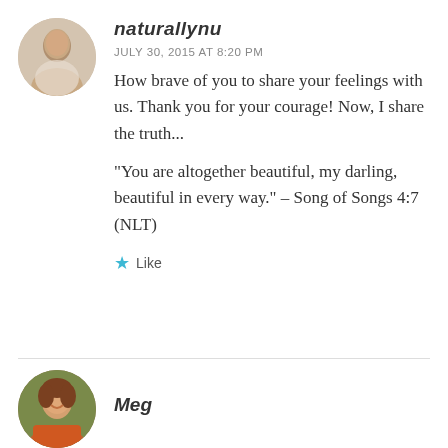[Figure (photo): Circular avatar photo of a person in a beige/tan coat]
naturallynu
JULY 30, 2015 AT 8:20 PM
How brave of you to share your feelings with us. Thank you for your courage! Now, I share the truth...
“You are altogether beautiful, my darling, beautiful in every way.” – Song of Songs 4:7 (NLT)
Like
[Figure (photo): Circular avatar photo of a smiling woman named Meg]
Meg